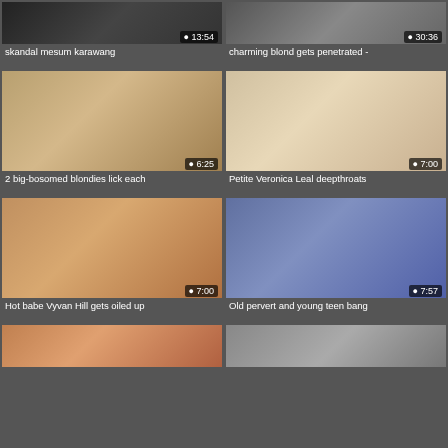[Figure (screenshot): Video thumbnail - skandal mesum karawang, duration 13:54]
skandal mesum karawang
[Figure (screenshot): Video thumbnail - charming blond gets penetrated, duration 30:36]
charming blond gets penetrated -
[Figure (screenshot): Video thumbnail - 2 big-bosomed blondies lick each, duration 6:25]
2 big-bosomed blondies lick each
[Figure (screenshot): Video thumbnail - Petite Veronica Leal deepthroats, duration 7:00]
Petite Veronica Leal deepthroats
[Figure (screenshot): Video thumbnail - Hot babe Vyvan Hill gets oiled up, duration 7:00]
Hot babe Vyvan Hill gets oiled up
[Figure (screenshot): Video thumbnail - Old pervert and young teen bang, duration 7:57]
Old pervert and young teen bang
[Figure (screenshot): Video thumbnail bottom left partial]
[Figure (screenshot): Video thumbnail bottom right partial]